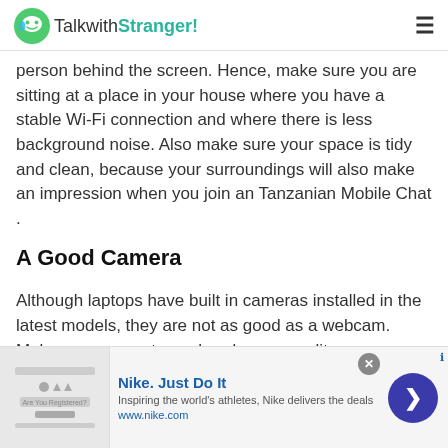TalkwithStranger!
person behind the screen. Hence, make sure you are sitting at a place in your house where you have a stable Wi-Fi connection and where there is less background noise. Also make sure your space is tidy and clean, because your surroundings will also make an impression when you join an Tanzanian Mobile Chat .
A Good Camera
Although laptops have built in cameras installed in the latest models, they are not as good as a webcam. Make sure you get your hands on a quality camera because clear
[Figure (screenshot): Nike advertisement banner with Nike logo, text 'Nike. Just Do It', 'Inspiring the world's athletes, Nike delivers the deals', 'www.nike.com', close button, and arrow button]